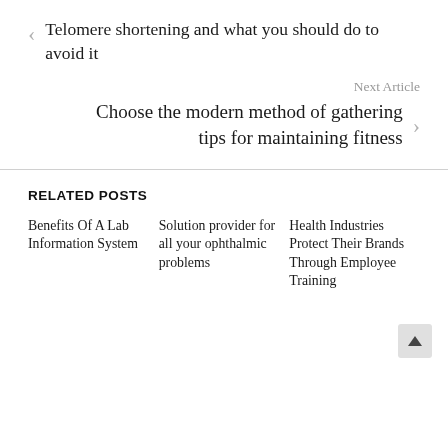Telomere shortening and what you should do to avoid it
Next Article
Choose the modern method of gathering tips for maintaining fitness
RELATED POSTS
Benefits Of A Lab Information System
Solution provider for all your ophthalmic problems
Health Industries Protect Their Brands Through Employee Training